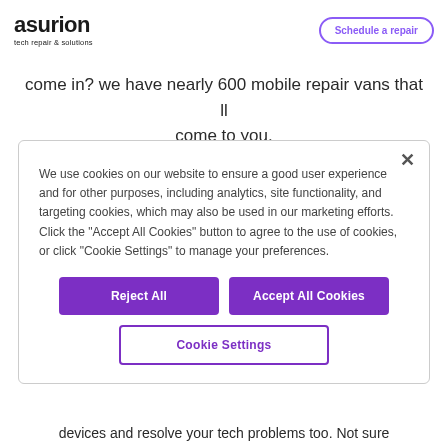asurion tech repair & solutions | Schedule a repair
come in? we have nearly 600 mobile repair vans that ll come to you.
We use cookies on our website to ensure a good user experience and for other purposes, including analytics, site functionality, and targeting cookies, which may also be used in our marketing efforts. Click the "Accept All Cookies" button to agree to the use of cookies, or click "Cookie Settings" to manage your preferences.
Reject All
Accept All Cookies
Cookie Settings
devices and resolve your tech problems too. Not sure